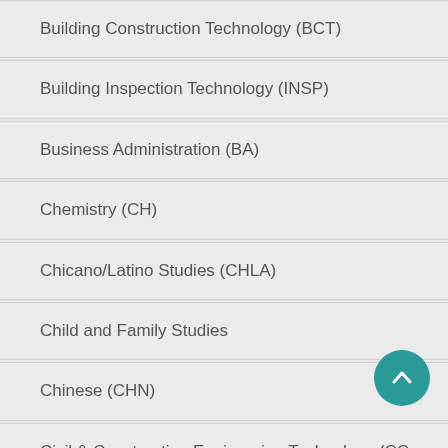Building Construction Technology (BCT)
Building Inspection Technology (INSP)
Business Administration (BA)
Chemistry (CH)
Chicano/Latino Studies (CHLA)
Child and Family Studies
Chinese (CHN)
Civil & Construction Engineering Technology (CC…)
College Success and Career Guidance (CG)